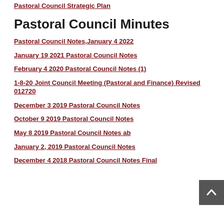Pastoral Council  Strategic Plan
Pastoral Council Minutes
Pastoral Council Notes,January 4 2022
January 19 2021 Pastoral Council Notes
February 4 2020 Pastoral Council Notes (1)
1-8-20 Joint Council Meeting (Pastoral and Finance) Revised 012720
December 3 2019 Pastoral Council Notes
October 9 2019 Pastoral Council Notes
May 8 2019 Pastoral Council Notes ab
January 2, 2019 Pastoral Council Notes
December 4 2018 Pastoral Council Notes Final